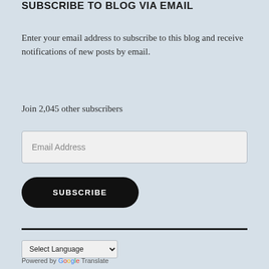SUBSCRIBE TO BLOG VIA EMAIL
Enter your email address to subscribe to this blog and receive notifications of new posts by email.
Join 2,045 other subscribers
Email Address
SUBSCRIBE
Select Language
Powered by Google Translate